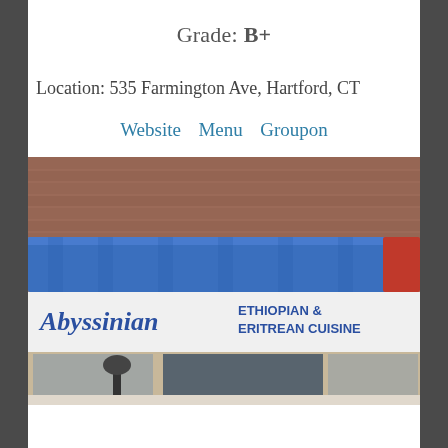Grade: B+
Location:  535 Farmington Ave, Hartford, CT
Website  Menu  Groupon
[Figure (photo): Exterior photo of Abyssinian Ethiopian & Eritrean Cuisine restaurant storefront at 535 Farmington Ave, Hartford CT. Shows a blue awning above the entrance with the restaurant name and cuisine type printed on a white sign band. Brick facade above. A black lamp post visible in the foreground, glass entrance doors in the center.]